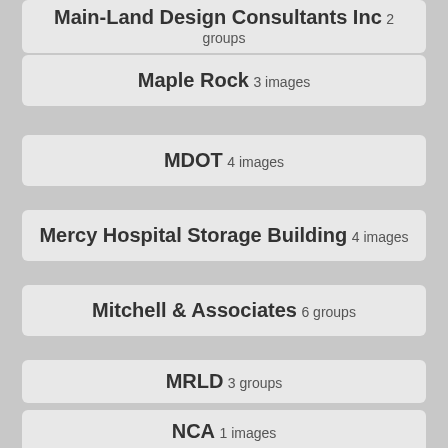Main-Land Design Consultants Inc 2 groups
Maple Rock 3 images
MDOT 4 images
Mercy Hospital Storage Building 4 images
Mitchell & Associates 6 groups
MRLD 3 groups
NCA 1 images
Neill & Gunter 7 images
Nest-Eggs LLC 47 images